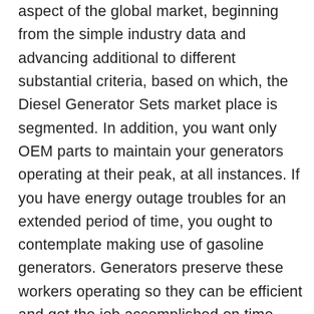aspect of the global market, beginning from the simple industry data and advancing additional to different substantial criteria, based on which, the Diesel Generator Sets market place is segmented. In addition, you want only OEM parts to maintain your generators operating at their peak, at all instances. If you have energy outage troubles for an extended period of time, you ought to contemplate making use of gasoline generators. Generators preserve these workers operating so they can be efficient and get the job accomplished on time. Diesel generators are broadly utilised across distinct industries such as utilities, oil & gas, marine, mining, healthcare, and telecom among other folks. The advent of diesel generators has helped to reduce the problem of energy generation. For these causes and several far more, little enterprise owners are relying on standby Honda generators to provide protection against losses that